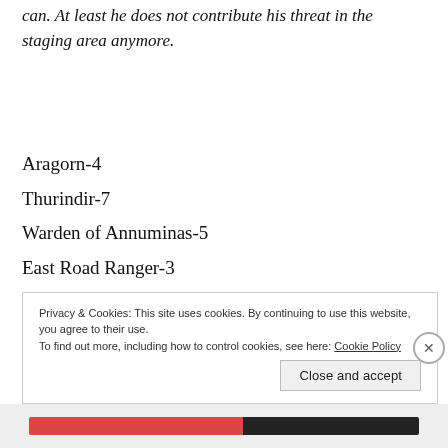can. At least he does not contribute his threat in the staging area anymore.
Aragorn-4
Thurindir-7
Warden of Annuminas-5
East Road Ranger-3
Sarn Ford Sentry-2
Total willpower: 21
Privacy & Cookies: This site uses cookies. By continuing to use this website, you agree to their use. To find out more, including how to control cookies, see here: Cookie Policy